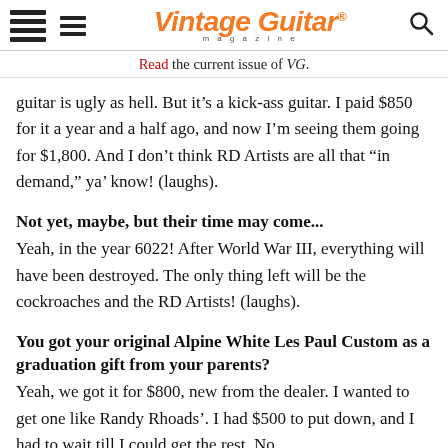Vintage Guitar magazine
Read the current issue of VG.
guitar is ugly as hell. But it’s a kick-ass guitar. I paid $850 for it a year and a half ago, and now I’m seeing them going for $1,800. And I don’t think RD Artists are all that “in demand,” ya’ know! (laughs).
Not yet, maybe, but their time may come...
Yeah, in the year 6022! After World War III, everything will have been destroyed. The only thing left will be the cockroaches and the RD Artists! (laughs).
You got your original Alpine White Les Paul Custom as a graduation gift from your parents?
Yeah, we got it for $800, new from the dealer. I wanted to get one like Randy Rhoads’. I had $500 to put down, and I had to wait till I could get the rest. No...